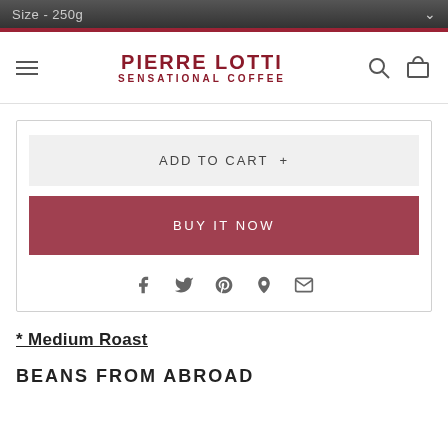Size - 250g
[Figure (logo): Pierre Lotti Sensational Coffee logo with hamburger menu, search and cart icons]
ADD TO CART +
BUY IT NOW
[Figure (other): Social share icons: Facebook, Twitter, Pinterest, Fancy, Email]
* Medium Roast
BEANS FROM ABROAD